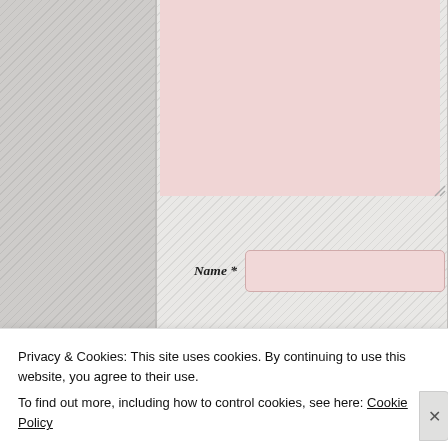[Figure (screenshot): A web comment form showing a pink textarea at the top (partially visible), followed by Name *, Email *, and Website input fields. The Name and Email fields have a pink/rose tint, the Website field is white. A 'Post Comment' italic button text appears at the bottom right of the form.]
Name *
Email *
Website
Post Comment
Privacy & Cookies: This site uses cookies. By continuing to use this website, you agree to their use.
To find out more, including how to control cookies, see here: Cookie Policy
Close and accept